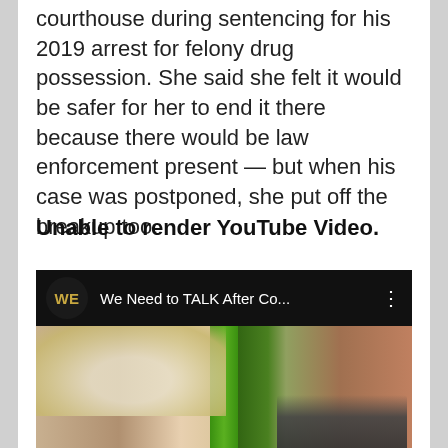courthouse during sentencing for his 2019 arrest for felony drug possession. She said she felt it would be safer for her to end it there because there would be law enforcement present — but when his case was postponed, she put off the breakup too.
Unable to render YouTube Video.
[Figure (screenshot): YouTube video embed showing WE tv channel thumbnail with title 'We Need to TALK After Co...' and thumbnail showing two faces — a blonde woman on the left and a man wearing a black mask on the right, with a green element between them.]